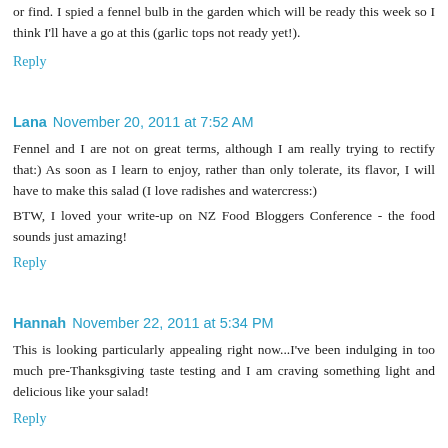or find. I spied a fennel bulb in the garden which will be ready this week so I think I'll have a go at this (garlic tops not ready yet!).
Reply
Lana  November 20, 2011 at 7:52 AM
Fennel and I are not on great terms, although I am really trying to rectify that:) As soon as I learn to enjoy, rather than only tolerate, its flavor, I will have to make this salad (I love radishes and watercress:)
BTW, I loved your write-up on NZ Food Bloggers Conference - the food sounds just amazing!
Reply
Hannah  November 22, 2011 at 5:34 PM
This is looking particularly appealing right now...I've been indulging in too much pre-Thanksgiving taste testing and I am craving something light and delicious like your salad!
Reply